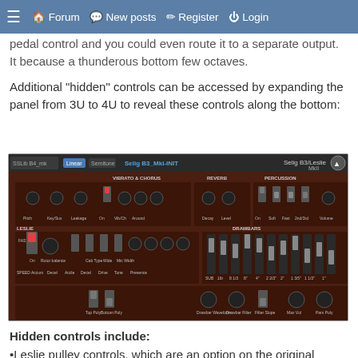≡  🏠 Forum  💬 New posts  ✎ Register  ⏻ Login
pedal control and you could even route it to a separate output. It because a thunderous bottom few octaves.
Additional "hidden" controls can be accessed by expanding the panel from 3U to 4U to reveal these controls along the bottom:
[Figure (screenshot): Screenshot of the Selig B3/Leslie MkII synthesizer plugin interface showing expanded 4U panel with controls including Vibrato & Chorus, Reverb, Percussion, Leslie, Drawbars sections and hidden controls at bottom including Top Poly, Bottom Poly, Drawbar Waveform, Drawbar Filter, Filter Slope, Max Vol, Pars Poly.]
Hidden controls include:
•Leslie pulley controls, which are an option on the original Leslie treble rotor to adjust overall speed.
•Waveform (age) which morphs between sine/triangle/square/saw. Settings of between 3-10 add subtle odd harmonic content which can add a bit of edge to the sound.
•Drawbar Filter is a bonus control you probably don't need, but